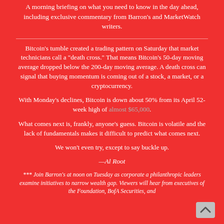A morning briefing on what you need to know in the day ahead, including exclusive commentary from Barron's and MarketWatch writers.
Bitcoin’s tumble created a trading pattern on Saturday that market technicians call a “death cross.” That means Bitcoin’s 50-day moving average dropped below the 200-day moving average. A death cross can signal that buying momentum is coming out of a stock, a market, or a cryptocurrency.
With Monday’s declines, Bitcoin is down about 50% from its April 52-week high of almost $65,000.
What comes next is, frankly, anyone’s guess. Bitcoin is volatile and the lack of fundamentals makes it difficult to predict what comes next.
We won’t even try, except to say buckle up.
—Al Root
*** Join Barron’s at noon on Tuesday as corporate a philanthropic leaders examine initiatives to narrow wealth gap. Viewers will hear from executives of the Foundation, BofA Securities, and